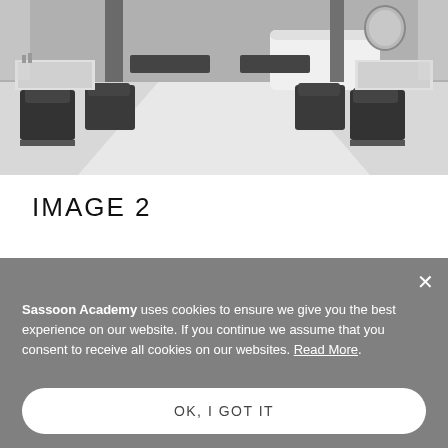[Figure (photo): Black and white interior photo of a hair salon showing styling chairs on both sides, a reception desk in the background, and a clean open floor space in the center.]
IMAGE 2
Sassoon Academy uses cookies to ensure we give you the best experience on our website. If you continue we assume that you consent to receive all cookies on our websites. Read More.
OK, I GOT IT